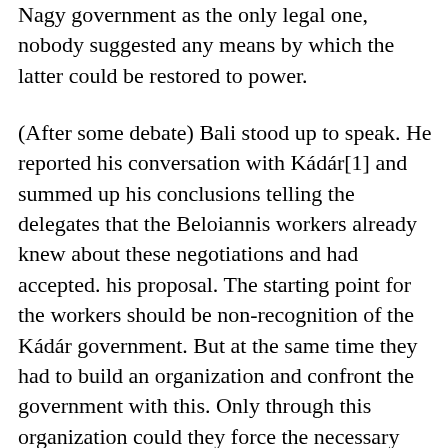Nagy government as the only legal one, nobody suggested any means by which the latter could be restored to power.
(After some debate) Bali stood up to speak. He reported his conversation with Kádár[1] and summed up his conclusions telling the delegates that the Beloiannis workers already knew about these negotiations and had accepted. his proposal. The starting point for the workers should be non-recognition of the Kádár government. But at the same time they had to build an organization and confront the government with this. Only through this organization could they force the necessary concessions out of Kádár. The delegates must set up a Central Workers' Council which, backed by the general strike, would draw up the workers' demands and communicate them to the government. And until these demands were accepted the strike would continue.